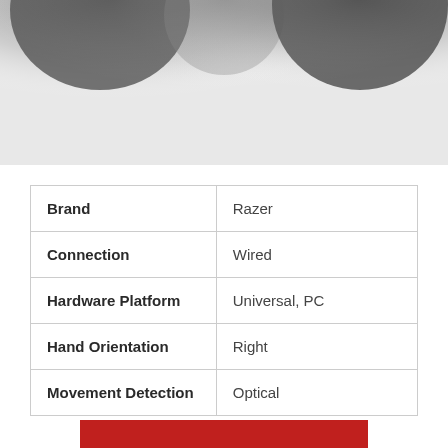[Figure (photo): Blurred close-up photo of a dark object (likely a gaming mouse) on a light background, showing rounded dark shapes against white/grey gradient]
|  |  |
| --- | --- |
| Brand | Razer |
| Connection | Wired |
| Hardware Platform | Universal, PC |
| Hand Orientation | Right |
| Movement Detection | Optical |